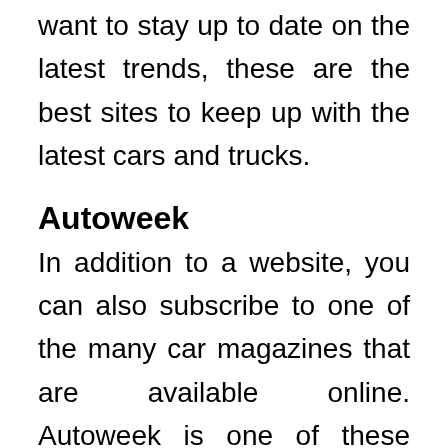want to stay up to date on the latest trends, these are the best sites to keep up with the latest cars and trucks.
Autoweek
In addition to a website, you can also subscribe to one of the many car magazines that are available online. Autoweek is one of these magazines and is among the best automotive news